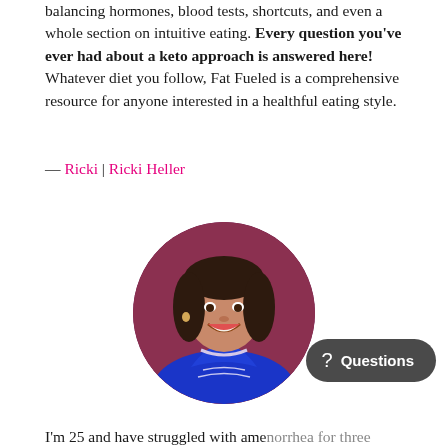balancing hormones, blood tests, shortcuts, and even a whole section on intuitive eating. Every question you've ever had about a keto approach is answered here! Whatever diet you follow, Fat Fueled is a comprehensive resource for anyone interested in a healthful eating style.
— Ricki | Ricki Heller
[Figure (photo): Circular portrait photo of a smiling woman with dark hair wearing a blue embroidered top with a necklace]
I'm 25 and have struggled with amenorrhea for three